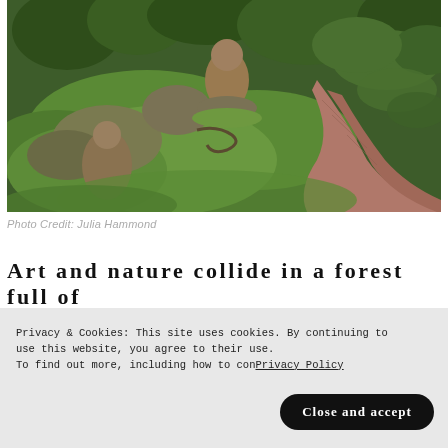[Figure (photo): Photo of a mossy garden with stone sculptures of figures amid lush green ferns and plants, with a terracotta-colored stone path visible on the right side.]
Photo Credit: Julia Hammond
Art and nature collide in a forest full of
Privacy & Cookies: This site uses cookies. By continuing to use this website, you agree to their use. To find out more, including how to con... Privacy Policy
Close and accept